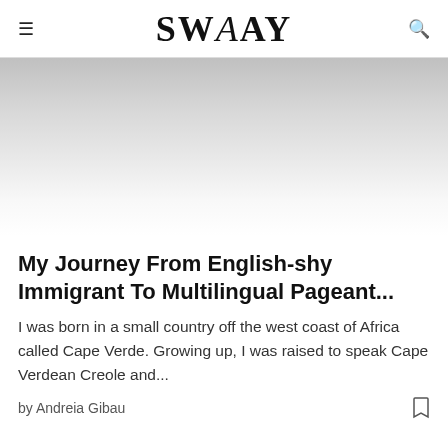SWAAY
[Figure (photo): Hero image area with gradient from light gray to white, representing a faded/scrolled photograph above the article card]
My Journey From English-shy Immigrant To Multilingual Pageant...
I was born in a small country off the west coast of Africa called Cape Verde. Growing up, I was raised to speak Cape Verdean Creole and...
by Andreia Gibau